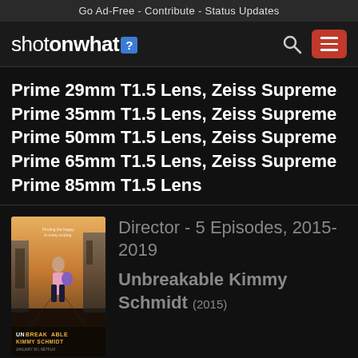Go Ad-Free - Contribute - Status Updates
[Figure (logo): shotonwhat? logo with blue question mark badge, search icon, and red hamburger menu button]
Prime 29mm T1.5 Lens, Zeiss Supreme Prime 35mm T1.5 Lens, Zeiss Supreme Prime 50mm T1.5 Lens, Zeiss Supreme Prime 65mm T1.5 Lens, Zeiss Supreme Prime 85mm T1.5 Lens
[Figure (photo): Movie poster for Unbreakable Kimmy Schmidt (2015) showing a woman on a city street with orange sunset tones]
Director - 5 Episodes, 2015-2019
Unbreakable Kimmy Schmidt (2015)
Directed by: Tristram Shapeero, Michael Engler, Beth McCarthy-Miller, Jeff Richmond, Claire